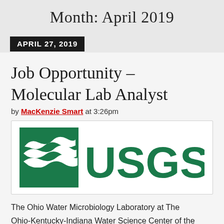Month: April 2019
APRIL 27, 2019
Job Opportunity – Molecular Lab Analyst
by MacKenzie Smart at 3:26pm
[Figure (logo): USGS (U.S. Geological Survey) logo in green, featuring stylized wave lines on the left and the letters USGS in large bold text on the right.]
The Ohio Water Microbiology Laboratory at The Ohio-Kentucky-Indiana Water Science Center of the